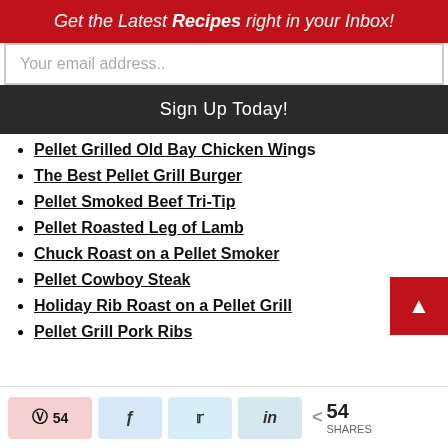Get the Latest Recipes right in your Inbox!
Your email address..
Sign Up Today!
Pellet Grilled Old Bay Chicken Win...
The Best Pellet Grill Burger
Pellet Smoked Beef Tri-Tip
Pellet Roasted Leg of Lamb
Chuck Roast on a Pellet Smoker
Pellet Cowboy Steak
Holiday Rib Roast on a Pellet Grill
Pellet Grill Pork Ribs
54 SHARES